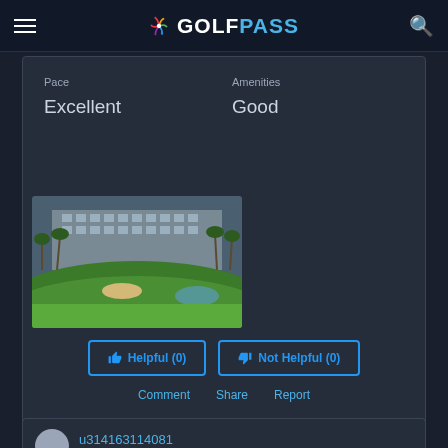GolfPass - NBC Sports app navigation
| Pace | Amenities |
| --- | --- |
| Excellent | Good |
[Figure (photo): Golf course photo showing green fairway with sand bunkers, palm trees, and a large hotel/resort building in the background]
Helpful (0)
Not Helpful (0)
Comment  Share  Report
u314163114081
Played On 07/08/2022